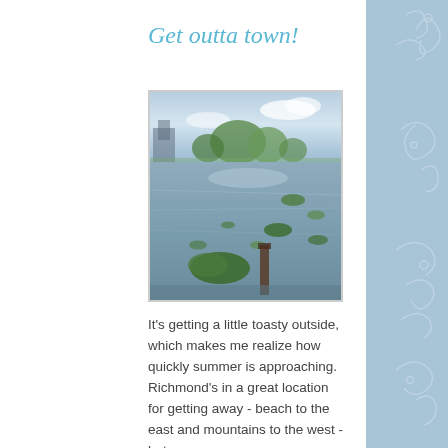Get outta town!
[Figure (photo): Outdoor wetland or flooded area with lily pads and a wooden post in the foreground, green trees and a building visible in the background under a partly cloudy sky.]
It's getting a little toasty outside, which makes me realize how quickly summer is approaching. Richmond's in a great location for getting away - beach to the east and mountains to the west - but